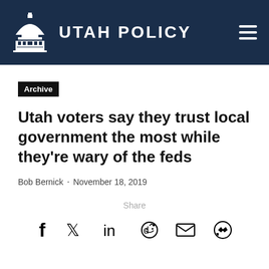UTAH POLICY
Archive
Utah voters say they trust local government the most while they're wary of the feds
Bob Bernick · November 18, 2019
Share